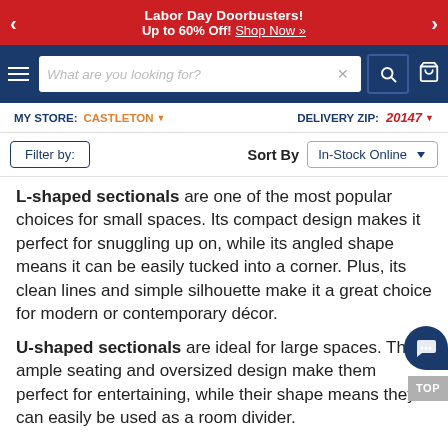Labor Day Doorbusters! Up to 60% Off! Shop Now »
[Figure (screenshot): Website navigation bar with hamburger menu, search box, search button, and cart icon on dark navy background]
MY STORE: CASTLETON ▾  DELIVERY ZIP: 20147 ▾
Filter by: Sort By In-Stock Online
L-shaped sectionals are one of the most popular choices for small spaces. Its compact design makes it perfect for snuggling up on, while its angled shape means it can be easily tucked into a corner. Plus, its clean lines and simple silhouette make it a great choice for modern or contemporary décor.
U-shaped sectionals are ideal for large spaces. Their ample seating and oversized design make them perfect for entertaining, while their shape means they can easily be used as a room divider.